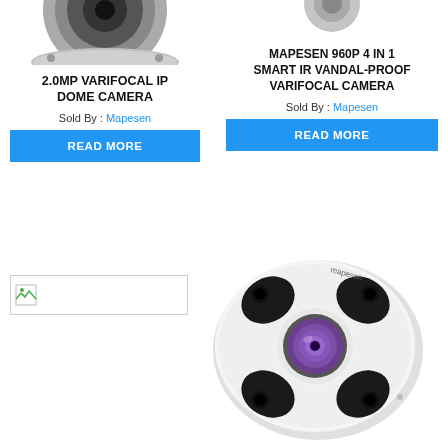[Figure (photo): Partial top view of a dome camera (cropped at top of page), left column]
2.0MP VARIFOCAL IP DOME CAMERA
Sold By : Mapesen
READ MORE
[Figure (photo): Partial top view of a second camera (cropped at top of page), right column]
MAPESEN 960P 4 IN 1 SMART IR VANDAL-PROOF VARIFOCAL CAMERA
Sold By : Mapesen
READ MORE
[Figure (photo): Broken image placeholder (small icon with border), bottom left]
[Figure (photo): Fisheye/360-degree security camera, white body with large purple/violet wide-angle lens and four IR LED clusters in a circular pattern, bottom right]